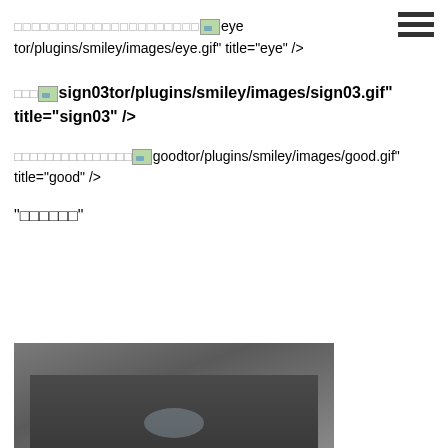□□□□□□□□□□□□□□□□□□□□□[eye image]eye tor/plugins/smiley/images/eye.gif" title="eye" />
□□□[sign03 image]sign03tor/plugins/smiley/images/sign03.gif" title="sign03" />
□□□□□□□□□□□□□□□[good image]goodtor/plugins/smiley/images/good.gif" title="good" />
"□□□□□□"
[Figure (photo): Partial photo of an object on a dark background, visible at the bottom of the page]